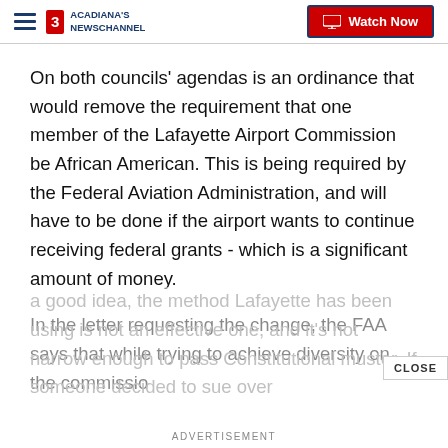Acadiana's Newschannel | Watch Now
On both councils' agendas is an ordinance that would remove the requirement that one member of the Lafayette Airport Commission be African American. This is being required by the Federal Aviation Administration, and will have to be done if the airport wants to continue receiving federal grants - which is a significant amount of money.
In the letter requesting the change, the FAA says that while trying to achieve diversity on the commission is a good idea, the method Lafayette has been using is not an effective one, and it's not narrow enough to pass Constitutional muster. If someone decided to sue over